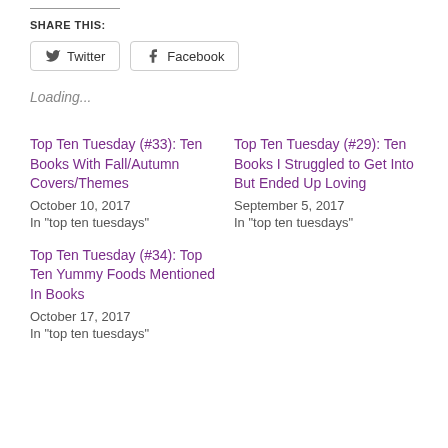SHARE THIS:
Twitter  Facebook
Loading...
Top Ten Tuesday (#33): Ten Books With Fall/Autumn Covers/Themes
October 10, 2017
In "top ten tuesdays"
Top Ten Tuesday (#29): Ten Books I Struggled to Get Into But Ended Up Loving
September 5, 2017
In "top ten tuesdays"
Top Ten Tuesday (#34): Top Ten Yummy Foods Mentioned In Books
October 17, 2017
In "top ten tuesdays"